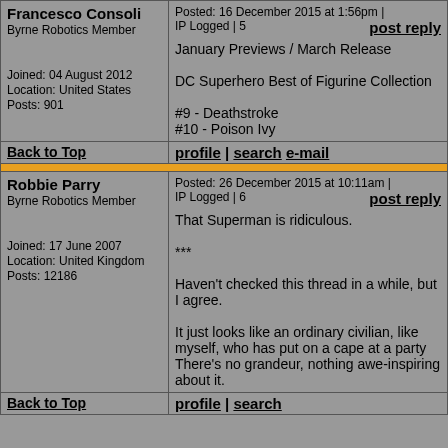Francesco Consoli
Byrne Robotics Member
Joined: 04 August 2012
Location: United States
Posts: 901
Posted: 16 December 2015 at 1:56pm | IP Logged | 5
post reply

January Previews / March Release

DC Superhero Best of Figurine Collection

#9 - Deathstroke
#10 - Poison Ivy
Back to Top
profile | search e-mail
Robbie Parry
Byrne Robotics Member
Joined: 17 June 2007
Location: United Kingdom
Posts: 12186
Posted: 26 December 2015 at 10:11am | IP Logged | 6
post reply

That Superman is ridiculous.

***

Haven't checked this thread in a while, but I agree.

It just looks like an ordinary civilian, like myself, who has put on a cape at a party There's no grandeur, nothing awe-inspiring about it.
Back to Top
profile | search